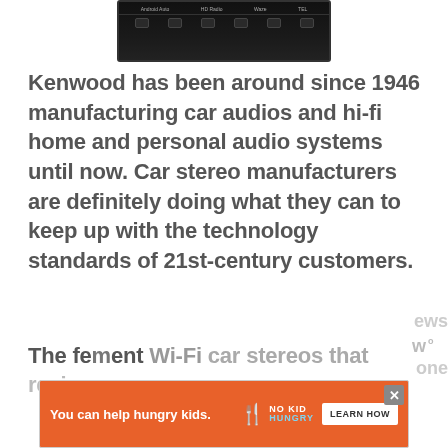[Figure (screenshot): Screenshot of a Kenwood car stereo head unit display showing Android Auto, HD Radio, Waze, and TEL buttons on the top bar, with navigation buttons on the bottom bar.]
Kenwood has been around since 1946 manufacturing car audios and hi-fi home and personal audio systems until now. Car stereo manufacturers are definitely doing what they can to keep up with the technology standards of 21st-century customers.
The features on Wi-Fi car stereos that reviews w... one
[Figure (screenshot): Advertisement banner: orange background with text 'You can help hungry kids.' and No Kid Hungry logo, with a 'LEARN HOW' button and a close (X) button.]